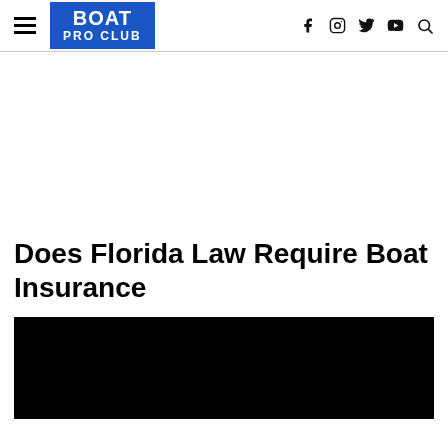BOAT PRO CLUB — navigation header with hamburger menu, logo, social icons (f, Instagram, Twitter, YouTube, Search)
[Figure (other): Blank white advertisement/banner space below the header navigation]
Does Florida Law Require Boat Insurance
[Figure (photo): Large black/dark hero image below the article title, content not visible]